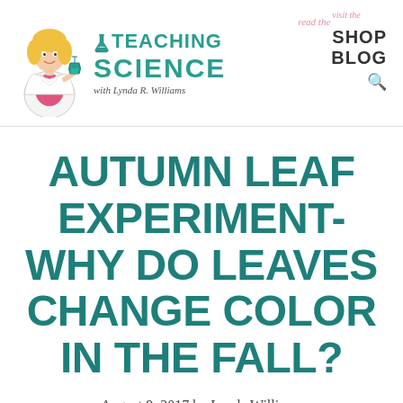[Figure (logo): Teaching Science with Lynda R. Williams logo featuring a cartoon female scientist in a lab coat holding a flask, with teal text]
read the BLOG  visit the SHOP  [search icon]
AUTUMN LEAF EXPERIMENT-WHY DO LEAVES CHANGE COLOR IN THE FALL?
August 9, 2017 by Lynda Williams